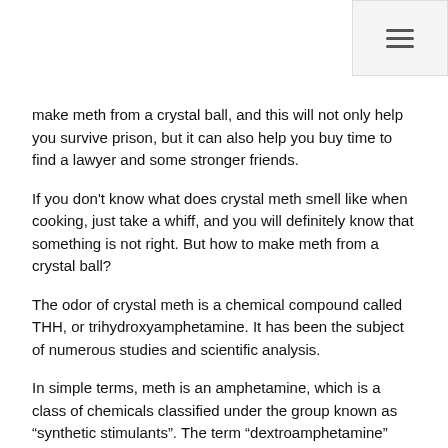[hamburger menu icon]
make meth from a crystal ball, and this will not only help you survive prison, but it can also help you buy time to find a lawyer and some stronger friends.
If you don’t know what does crystal meth smell like when cooking, just take a whiff, and you will definitely know that something is not right. But how to make meth from a crystal ball?
The odor of crystal meth is a chemical compound called THH, or trihydroxyamphetamine. It has been the subject of numerous studies and scientific analysis.
In simple terms, meth is an amphetamine, which is a class of chemicals classified under the group known as “synthetic stimulants”. The term “dextroamphetamine” has also been used in reference to the same drug group.
What Does Crystal Meth Smell Like When Cooking
As a result, there is an assumption that anyone who cooks crystal